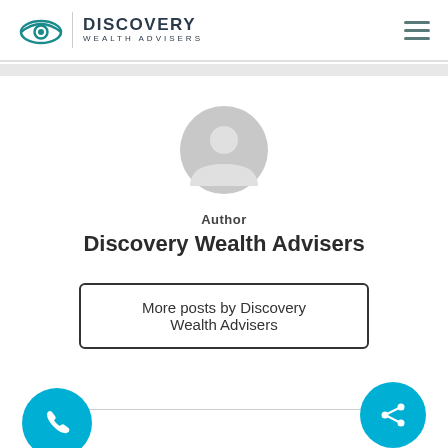Discovery Wealth Advisers
[Figure (illustration): Generic user avatar placeholder — grey circle with person silhouette]
Author
Discovery Wealth Advisers
More posts by Discovery Wealth Advisers